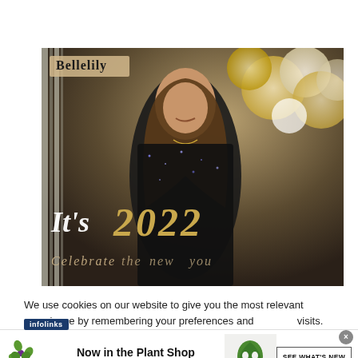[Figure (photo): Bellelily fashion advertisement showing a woman in a black sequin dress with gold and white balloons in the background. Text overlay reads 'It's 2022' in large gold and white letters with italic script below. Brand name 'Bellelily' appears in top left.]
We use cookies on our website to give you the most relevant experience by remembering your preferences and visits. By clicking “Accept All”, you consent to the
[Figure (infographic): 1-800-flowers.com advertisement banner. Logo with green flower icon and '1800 flowers.com' branding on left. Center text reads 'Now in the Plant Shop' (bold) and 'Fresh picks for summer'. Right side shows a photo of a green monstera plant in a white pot. A 'SEE WHAT'S NEW' button appears on the far right. An 'infolinks' badge appears on the left side.]